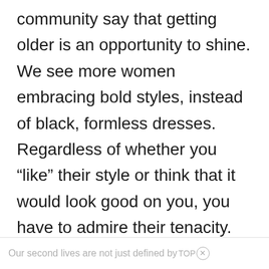community say that getting older is an opportunity to shine. We see more women embracing bold styles, instead of black, formless dresses. Regardless of whether you “like” their style or think that it would look good on you, you have to admire their tenacity. They are fighting back against the “rules” for older women and embracing their bohemian, rebellious selves.
Our second lives are not just defined by TOP×